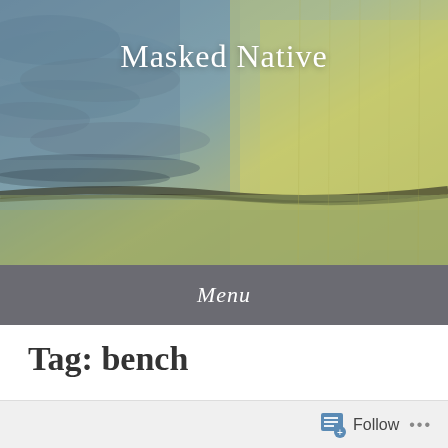[Figure (illustration): Painted landscape header image with blue-grey sky on the left and a yellowish-green area on the right, dark horizon line across the middle]
Masked Native
Menu
Tag: bench
Follow ...